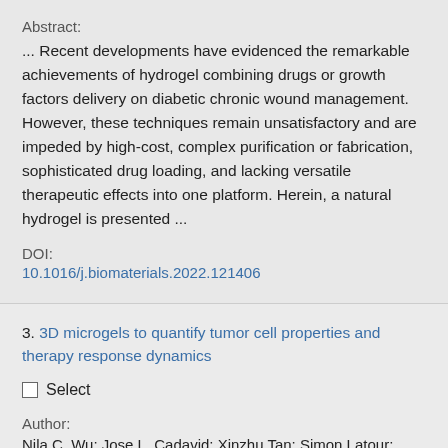Abstract:
... Recent developments have evidenced the remarkable achievements of hydrogel combining drugs or growth factors delivery on diabetic chronic wound management. However, these techniques remain unsatisfactory and are impeded by high-cost, complex purification or fabrication, sophisticated drug loading, and lacking versatile therapeutic effects into one platform. Herein, a natural hydrogel is presented ...
DOI:
10.1016/j.biomaterials.2022.121406
3. 3D microgels to quantify tumor cell properties and therapy response dynamics
Select
Author:
Nila C. Wu; Jose L. Cadavid; Xinzhu Tan; Simon Latour; Stefano Scaini; Priya Makhijani; Tracy L. McGaha; Laurie